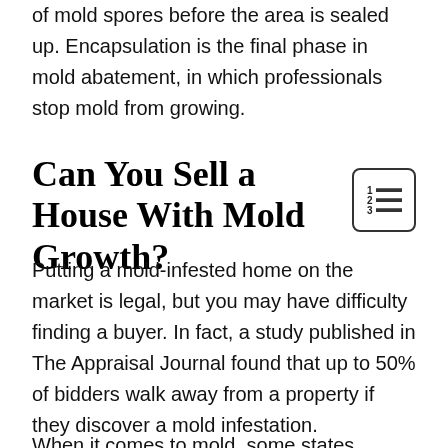of mold spores before the area is sealed up. Encapsulation is the final phase in mold abatement, in which professionals stop mold from growing.
Can You Sell a House With Mold Growth?
Putting a mold-infested home on the market is legal, but you may have difficulty finding a buyer. In fact, a study published in The Appraisal Journal found that up to 50% of bidders walk away from a property if they discover a mold infestation.
When it comes to mold, some states require